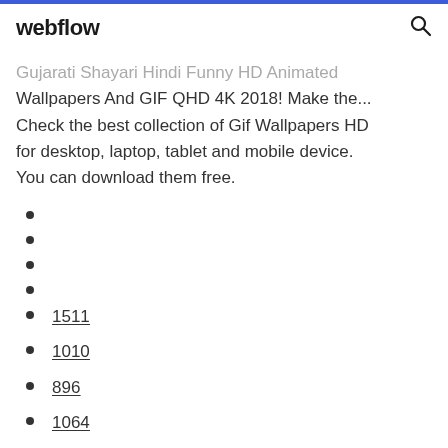webflow
Gujarati Shayari Hindi Funny HD Animated Wallpapers And GIF QHD 4K 2018! Make the... Check the best collection of Gif Wallpapers HD for desktop, laptop, tablet and mobile device. You can download them free.
1511
1010
896
1064